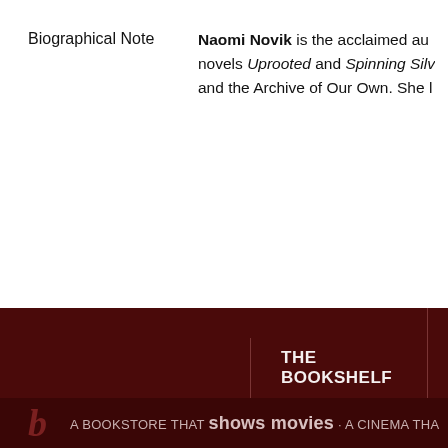Biographical Note
Naomi Novik is the acclaimed author of novels Uprooted and Spinning Silver and the Archive of Our Own. She l
THE BOOKSHELF
41 Quebec Street
Guelph Ontario
519.821.3311
BOOK
Books
Gifts
Read R
Follow
A BOOKSTORE THAT shows movies · A CINEMA THA